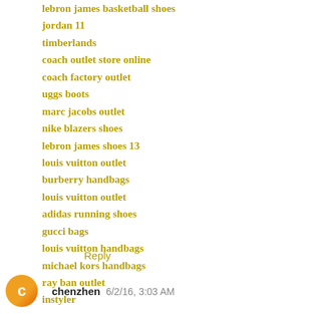lebron james basketball shoes
jordan 11
timberlands
coach outlet store online
coach factory outlet
uggs boots
marc jacobs outlet
nike blazers shoes
lebron james shoes 13
louis vuitton outlet
burberry handbags
louis vuitton outlet
adidas running shoes
gucci bags
louis vuitton handbags
michael kors handbags
ray ban outlet
instyler
Reply
chenzhen  6/2/16, 3:03 AM